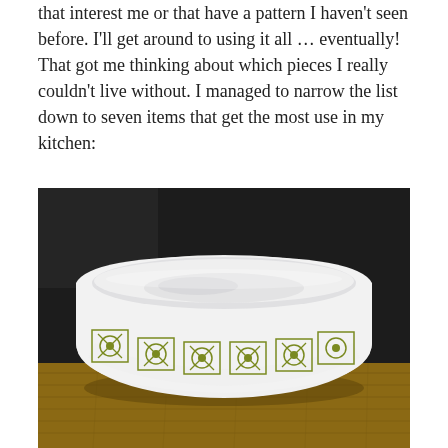that interest me or that have a pattern I haven't seen before. I'll get around to using it all … eventually!
That got me thinking about which pieces I really couldn't live without. I managed to narrow the list down to seven items that get the most use in my kitchen:
[Figure (photo): A white Pyrex mixing bowl with an olive green floral/geometric tile pattern around the lower half, sitting on a wooden surface with a dark background.]